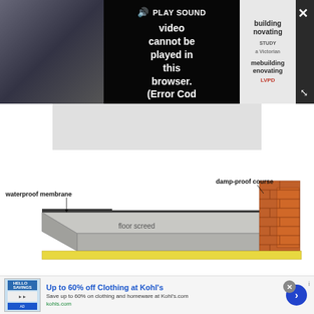[Figure (screenshot): Video player showing error message 'Video cannot be played in this browser. (Error Cod' with PLAY SOUND button, speaker icon, thumbnail of a building, and side panel showing 'building renovating' magazine content.]
[Figure (engineering-diagram): Technical cross-section diagram showing construction layers: waterproof membrane (labeled top-left), floor screed (labeled center), and damp-proof course (labeled top-right with brick wall shown in orange/terracotta at right edge).]
[Figure (screenshot): Advertisement banner: 'Up to 60% off Clothing at Kohl's' with tagline 'Save up to 60% on clothing and homeware at Kohl's.com' and URL 'kohls.com', with a blue circular arrow button and close button.]